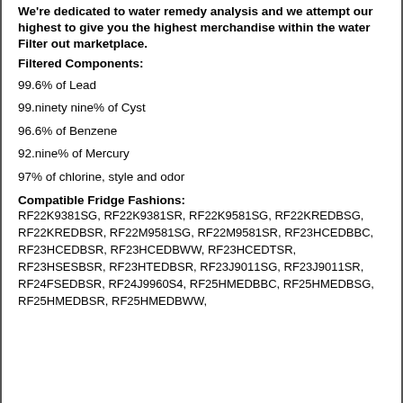We're dedicated to water remedy analysis and we attempt our highest to give you the highest merchandise within the water Filter out marketplace.
Filtered Components:
99.6% of Lead
99.ninety nine% of Cyst
96.6% of Benzene
92.nine% of Mercury
97% of chlorine, style and odor
Compatible Fridge Fashions:
RF22K9381SG, RF22K9381SR, RF22K9581SG, RF22KREDBSG, RF22KREDBSR, RF22M9581SG, RF22M9581SR, RF23HCEDBBC, RF23HCEDBSR, RF23HCEDBWW, RF23HCEDTSR, RF23HSESBSR, RF23HTEDBSR, RF23J9011SG, RF23J9011SR, RF24FSEDBSR, RF24J9960S4, RF25HMEDBBC, RF25HMEDBSG, RF25HMEDBSR, RF25HMEDBWW,